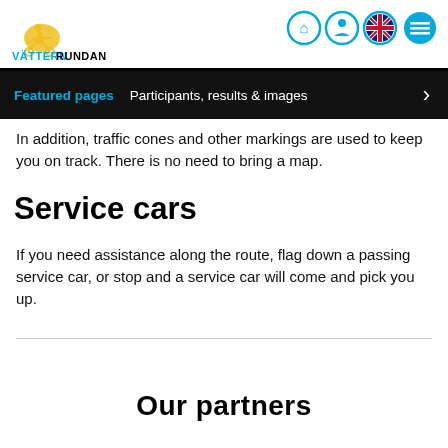[Figure (logo): Vätternrundan logo with cyclist silhouette in yellow and blue, text VATTERN RUNDAN]
[Figure (infographic): Navigation icons: home, person, UK flag, hamburger menu — circular teal-bordered and filled buttons]
Featured pages   Participants, results & images
In addition, traffic cones and other markings are used to keep you on track. There is no need to bring a map.
Service cars
If you need assistance along the route, flag down a passing service car, or stop and a service car will come and pick you up.
Our partners